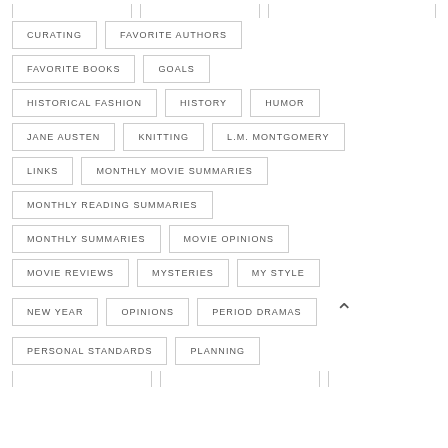CURATING
FAVORITE AUTHORS
FAVORITE BOOKS
GOALS
HISTORICAL FASHION
HISTORY
HUMOR
JANE AUSTEN
KNITTING
L.M. MONTGOMERY
LINKS
MONTHLY MOVIE SUMMARIES
MONTHLY READING SUMMARIES
MONTHLY SUMMARIES
MOVIE OPINIONS
MOVIE REVIEWS
MYSTERIES
MY STYLE
NEW YEAR
OPINIONS
PERIOD DRAMAS
PERSONAL STANDARDS
PLANNING